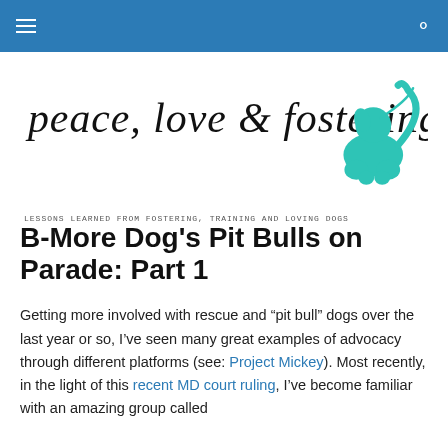Navigation bar with hamburger menu and search icon
[Figure (logo): Peace, love & fostering logo with handwritten-style text and a teal sitting dog illustration]
LESSONS LEARNED FROM FOSTERING, TRAINING AND LOVING DOGS
B-More Dog's Pit Bulls on Parade: Part 1
Getting more involved with rescue and “pit bull” dogs over the last year or so, I’ve seen many great examples of advocacy through different platforms (see: Project Mickey). Most recently, in the light of this recent MD court ruling, I’ve become familiar with an amazing group called